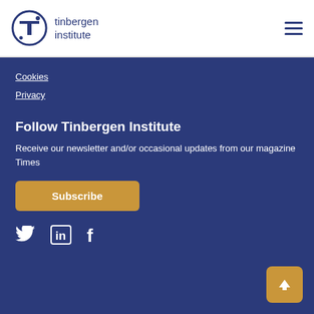[Figure (logo): Tinbergen Institute logo with circular TI emblem and text 'tinbergen institute']
Cookies
Privacy
Follow Tinbergen Institute
Receive our newsletter and/or occasional updates from our magazine Times
Subscribe
[Figure (infographic): Social media icons: Twitter bird, LinkedIn 'in', Facebook 'f']
[Figure (other): Back to top button with upward arrow]